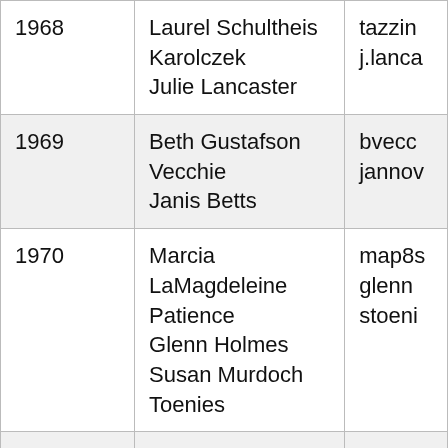| Year | Name | Email (partial) |
| --- | --- | --- |
| 1968 | Laurel Schultheis Karolczek
Julie Lancaster | tazzin
j.lanca |
| 1969 | Beth Gustafson Vecchie
Janis Betts | bvecc
jannov |
| 1970 | Marcia LaMagdeleine Patience
Glenn Holmes
Susan Murdoch Toenies | map8s
glenn
stoeni |
| 1971 | Jeff Pierce | jeffp4s |
| 1972 | Kathy Fahey-Hill | kfhill10 |
| 1977 |  | s191 |